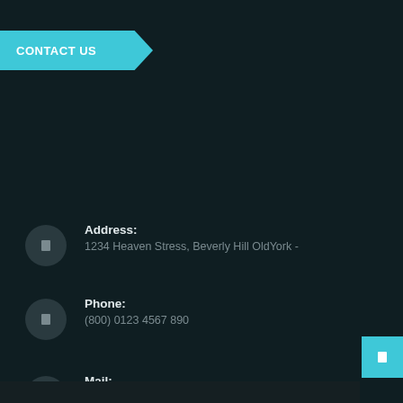CONTACT US
Address:
1234 Heaven Stress, Beverly Hill OldYork -
Phone:
(800) 0123 4567 890
Mail:
fieldthemes@gmail.com
Opening time:
Mon - Sun .......... 8:00 AM - 5:00 PM